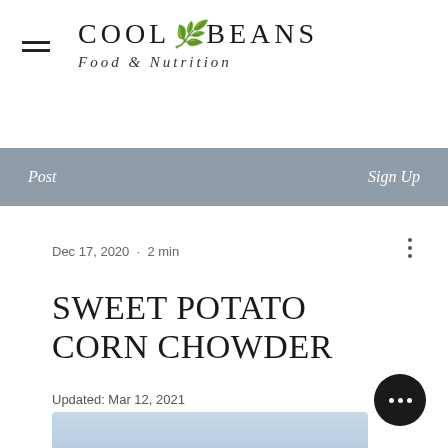COOL BEANS Food & Nutrition
Post    Sign Up
Dec 17, 2020  ·  2 min
SWEET POTATO CORN CHOWDER
Updated: Mar 12, 2021